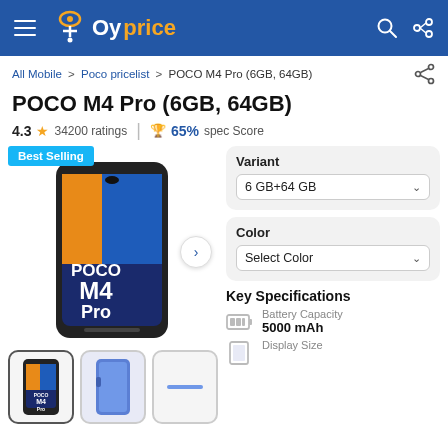Oyprice
All Mobile > Poco pricelist > POCO M4 Pro (6GB, 64GB)
POCO M4 Pro (6GB, 64GB)
4.3 ★ 34200 ratings | 🏆 65% spec Score
[Figure (photo): POCO M4 Pro smartphone product image showing the front of the phone with POCO M4 Pro branding, with Best Selling badge overlay]
Variant
6 GB+64 GB
Color
Select Color
Key Specifications
Battery Capacity
5000 mAh